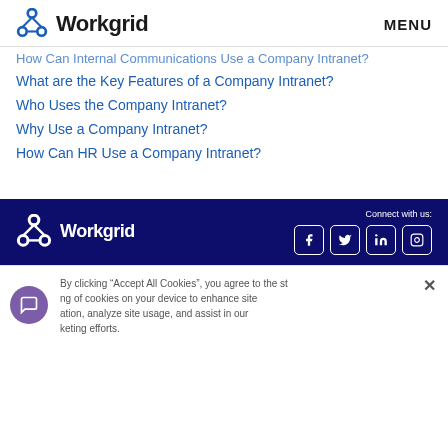Workgrid | MENU
How Can Internal Communications Use a Company Intranet?
What are the Key Features of a Company Intranet?
Who Uses the Company Intranet?
Why Use a Company Intranet?
How Can HR Use a Company Intranet?
Workgrid footer with social icons: Facebook, Twitter, LinkedIn, Instagram. Connect with us:
By clicking “Accept All Cookies”, you agree to the storing of cookies on your device to enhance site navigation, analyze site usage, and assist in our marketing efforts.